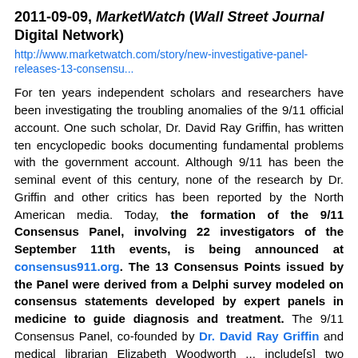2011-09-09, MarketWatch (Wall Street Journal Digital Network)
http://www.marketwatch.com/story/new-investigative-panel-releases-13-consensu...
For ten years independent scholars and researchers have been investigating the troubling anomalies of the 9/11 official account. One such scholar, Dr. David Ray Griffin, has written ten encyclopedic books documenting fundamental problems with the government account. Although 9/11 has been the seminal event of this century, none of the research by Dr. Griffin and other critics has been reported by the North American media. Today, the formation of the 9/11 Consensus Panel, involving 22 investigators of the September 11th events, is being announced at consensus911.org. The 13 Consensus Points issued by the Panel were derived from a Delphi survey modeled on consensus statements developed by expert panels in medicine to guide diagnosis and treatment. The 9/11 Consensus Panel, co-founded by Dr. David Ray Griffin and medical librarian Elizabeth Woodworth ... include[s] two former NASA engineers, six professors, one physician, two lawyers, four journalists, and three pilots. The Consensus Panel offers